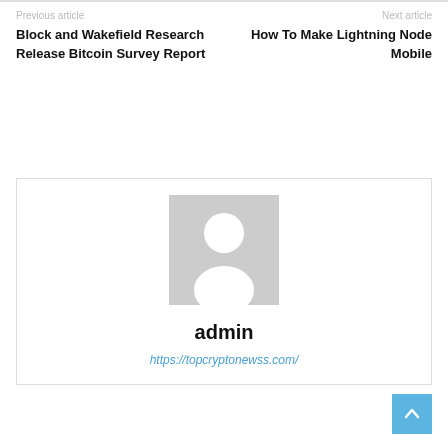Previous article
Block and Wakefield Research Release Bitcoin Survey Report
Next article
How To Make Lightning Node Mobile
[Figure (photo): Default user avatar placeholder — grey silhouette of a person on light grey background]
admin
https://topcryptonewss.com/